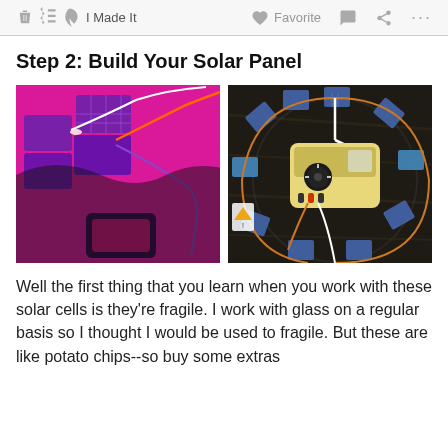I Made It   Favorite   ...
Step 2: Build Your Solar Panel
[Figure (photo): Left photo: pink/magenta background with solar cells, wires, and a multimeter. Right photo: circular arrangement of blue solar cells on a dark wooden surface with a multimeter and copper wires.]
Well the first thing that you learn when you work with these solar cells is they're fragile. I work with glass on a regular basis so I thought I would be used to fragile. But these are like potato chips--so buy some extras